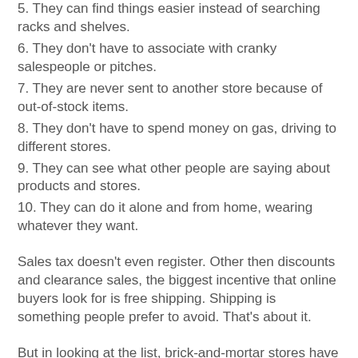5. They can find things easier instead of searching racks and shelves.
6. They don't have to associate with cranky salespeople or pitches.
7. They are never sent to another store because of out-of-stock items.
8. They don't have to spend money on gas, driving to different stores.
9. They can see what other people are saying about products and stores.
10. They can do it alone and from home, wearing whatever they want.
Sales tax doesn't even register. Other then discounts and clearance sales, the biggest incentive that online buyers look for is free shipping. Shipping is something people prefer to avoid. That's about it.
But in looking at the list, brick-and-mortar stores have much more work to do than worry about sales taxes. In order to compete with online retailers, they have to create experiences online transactions can't offer their customers as well as visiting the store or store, those of